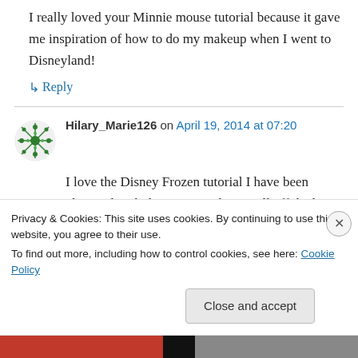I really loved your Minnie mouse tutorial because it gave me inspiration of how to do my makeup when I went to Disneyland!
↳ Reply
Hilary_Marie126 on April 19, 2014 at 07:20
I love the Disney Frozen tutorial I have been obsessed with the movie and you pull off the best makeup look inspired by it. I also love you Cheshire Cat look I wore it for Halloween! You
Privacy & Cookies: This site uses cookies. By continuing to use this website, you agree to their use.
To find out more, including how to control cookies, see here: Cookie Policy
Close and accept